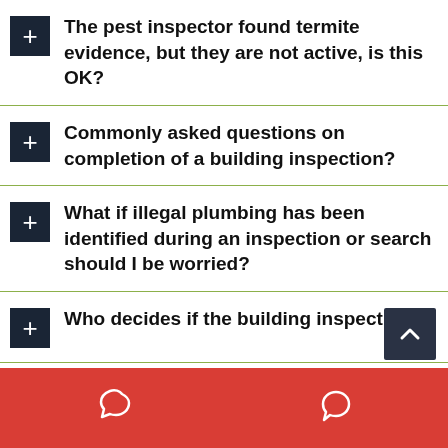The pest inspector found termite evidence, but they are not active, is this OK?
Commonly asked questions on completion of a building inspection?
What if illegal plumbing has been identified during an inspection or search should I be worried?
Who decides if the building inspection